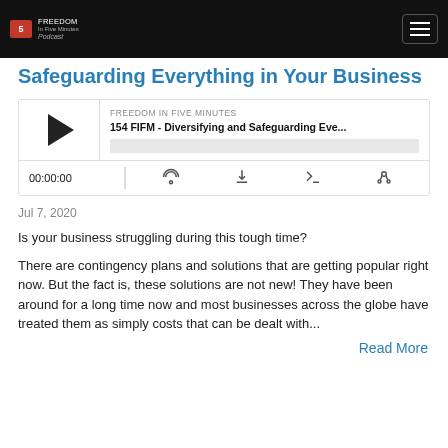Freedom In Five Minutes Podcast
Safeguarding Everything in Your Business
[Figure (screenshot): Podcast audio player widget showing episode '154 FIFM - Diversifying and Safeguarding Eve...' from Freedom In Five Minutes, with play button, progress bar, timestamp 00:00:00, and control icons for RSS, download, embed, and settings]
Jul 7, 2020
Is your business struggling during this tough time?
There are contingency plans and solutions that are getting popular right now. But the fact is, these solutions are not new! They have been around for a long time now and most businesses across the globe have treated them as simply costs that can be dealt with...
Read More